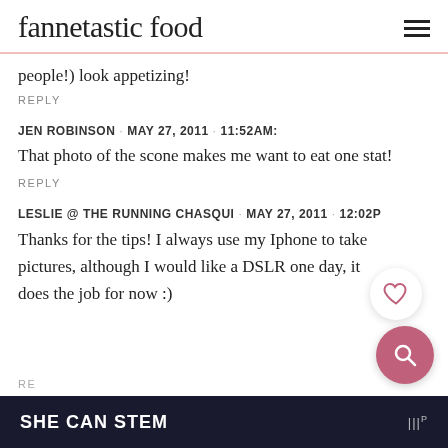fannetastic food
people!) look appetizing!
REPLY
JEN ROBINSON · MAY 27, 2011 · 11:52AM:
That photo of the scone makes me want to eat one stat!
REPLY
LESLIE @ THE RUNNING CHASQUI · MAY 27, 2011 · 12:02PM:
Thanks for the tips! I always use my Iphone to take pictures, although I would like a DSLR one day, it does the job for now :)
RE
SHE CAN STEM